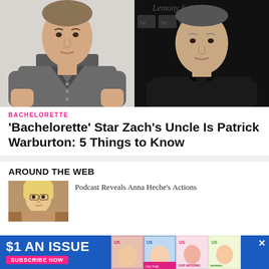[Figure (photo): Two side-by-side photos: left shows a muscular young man in a grey v-neck t-shirt against a white background; right shows an older man in a black shirt at a dark event backdrop with cursive text.]
BACHELORETTE
'Bachelorette' Star Zach's Uncle Is Patrick Warburton: 5 Things to Know
AROUND THE WEB
[Figure (photo): Small thumbnail photo of an older blonde woman.]
Podcast Reveals Anna Heche's Actions
[Figure (illustration): Advertisement banner: $1 AN ISSUE · SUBSCRIBE NOW with US Weekly magazine covers collage]